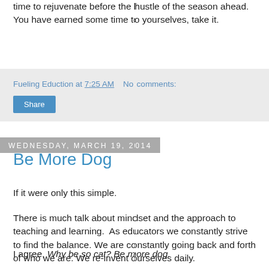time to rejuvenate before the hustle of the season ahead. You have earned some time to yourselves, take it.
Fueling Eduction at 7:25 AM   No comments:
Share
Wednesday, March 19, 2014
Be More Dog
If it were only this simple.
There is much talk about mindset and the approach to teaching and learning.  As educators we constantly strive to find the balance. We are constantly going back and forth of who we are. We re-invent ourselves daily.
I agree, Why be so cat? Be more dog.